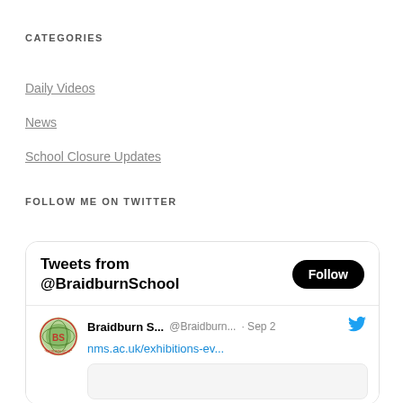CATEGORIES
Daily Videos
News
School Closure Updates
FOLLOW ME ON TWITTER
[Figure (screenshot): Twitter widget showing 'Tweets from @BraidburnSchool' with a Follow button, and a tweet from Braidburn S... @Braidburn... Sep 2 with link nms.ac.uk/exhibitions-ev... and a partial image placeholder below.]